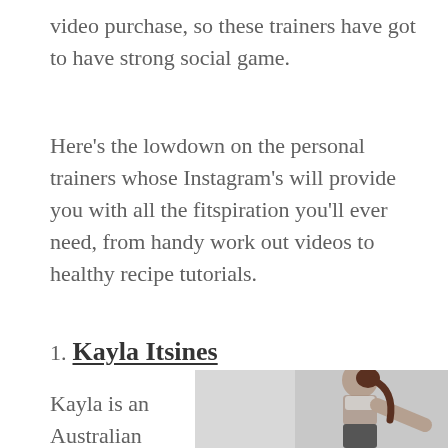video purchase, so these trainers have got to have strong social game.
Here's the lowdown on the personal trainers whose Instagram's will provide you with all the fitspiration you'll ever need, from handy work out videos to healthy recipe tutorials.
1. Kayla Itsines
[Figure (photo): Woman in athletic wear (sports bra and dark leggings) posing against a light grey background]
Kayla is an Australian personal